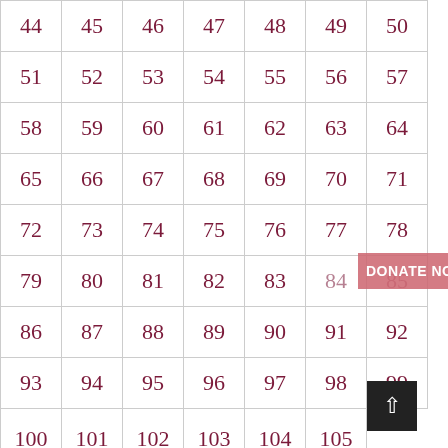| 44 | 45 | 46 | 47 | 48 | 49 | 50 |
| 51 | 52 | 53 | 54 | 55 | 56 | 57 |
| 58 | 59 | 60 | 61 | 62 | 63 | 64 |
| 65 | 66 | 67 | 68 | 69 | 70 | 71 |
| 72 | 73 | 74 | 75 | 76 | 77 | 78 |
| 79 | 80 | 81 | 82 | 83 | 84 | 85 |
| 86 | 87 | 88 | 89 | 90 | 91 | 92 |
| 93 | 94 | 95 | 96 | 97 | 98 | 99 |
| 100 | 101 | 102 | 103 | 104 | 105 |
| 106 | 107 | 108 | 109 | 110 | 111 |